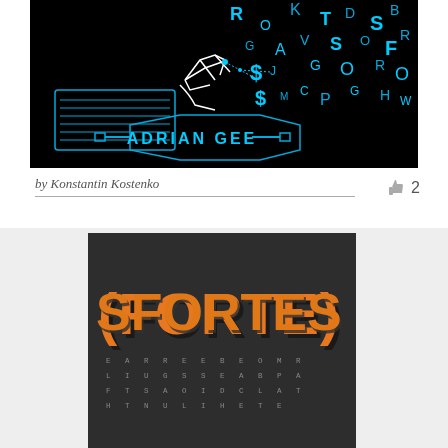[Figure (illustration): Dark/black background digital art showing a robotic hand typing on a keyboard with blue circuit-style letters and symbols floating around. Text 'ADRIAN GEE' in blue at the bottom center.]
by Konstantin Kostenko
👍 2
[Figure (illustration): Word search puzzle on dark background with orange 3D block letters spelling 'FORTES' in the center, surrounded by a grid of letters: E A R R E E B E O M R / L I U G S S E A B P A / F T S A O I D C L A T / H T N U L I H E T E]